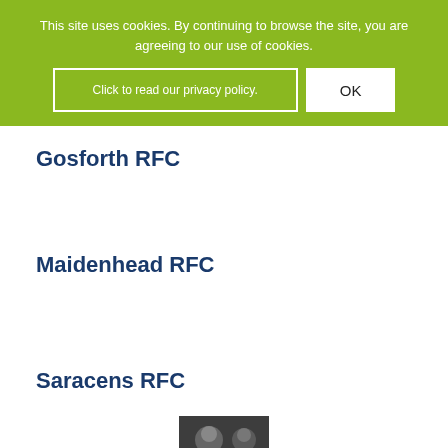This site uses cookies. By continuing to browse the site, you are agreeing to our use of cookies.
Click to read our privacy policy.
OK
Gosforth RFC
Maidenhead RFC
Saracens RFC
[Figure (photo): Thumbnail image at bottom of page]